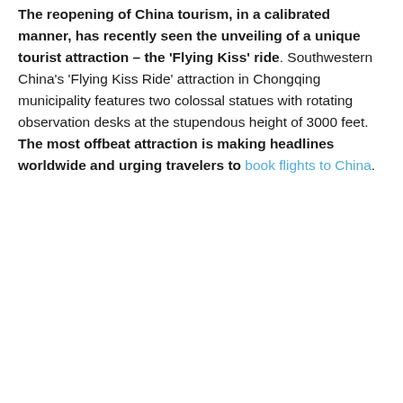The reopening of China tourism, in a calibrated manner, has recently seen the unveiling of a unique tourist attraction – the 'Flying Kiss' ride. Southwestern China's 'Flying Kiss Ride' attraction in Chongqing municipality features two colossal statues with rotating observation desks at the stupendous height of 3000 feet. The most offbeat attraction is making headlines worldwide and urging travelers to book flights to China.